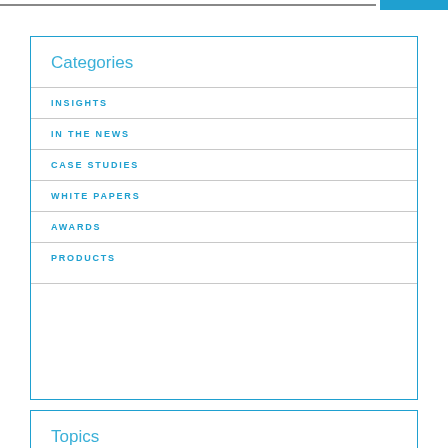Categories
INSIGHTS
IN THE NEWS
CASE STUDIES
WHITE PAPERS
AWARDS
PRODUCTS
Topics
FIXED INCOME TRADING